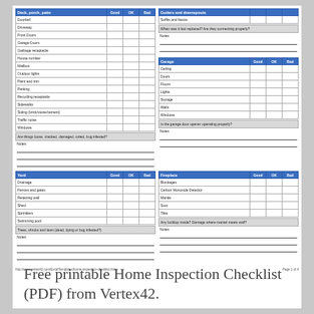| Deck, porch, patio | Good | OK | Bad |
| --- | --- | --- | --- |
| Doorbell |  |  |  |
| Driveway |  |  |  |
| Front Doors |  |  |  |
| Garage Doors |  |  |  |
| Garbage receptacle |  |  |  |
| House number |  |  |  |
| Mailbox |  |  |  |
| Outdoor lights |  |  |  |
| Paint and trim |  |  |  |
| Parking |  |  |  |
| Recycling receptacle |  |  |  |
| Sidewalks |  |  |  |
| Siding (brick/stone/cement) |  |  |  |
| Traffic noise |  |  |  |
| Windows |  |  |  |
| Gutters and downspouts |  |  |  |
| --- | --- | --- | --- |
| Soffits and fascia |  |  |  |
| When was it last replaced? Are they connecting properly? |  |  |  |
| Notes: |  |  |  |
| Garage | Good | OK | Bad |
| --- | --- | --- | --- |
| Ceiling |  |  |  |
| Doors |  |  |  |
| Floors |  |  |  |
| Lights |  |  |  |
| Storage |  |  |  |
| Walls |  |  |  |
| Windows |  |  |  |
Are things loose, cracked, damaged, rotted, bug infested?
Notes:
Is the garage door opener operating properly?
Notes:
| Yard | Good | OK | Bad |
| --- | --- | --- | --- |
| Drainage |  |  |  |
| Fences and gates |  |  |  |
| Retaining wall |  |  |  |
| Shed |  |  |  |
| Sprinklers |  |  |  |
| Swimming pool |  |  |  |
| Fireplace | Good | OK | Bad |
| --- | --- | --- | --- |
| Blockages |  |  |  |
| Carbon Monoxide Detector |  |  |  |
| Mantle |  |  |  |
| Soot |  |  |  |
| Tiles |  |  |  |
Trees, shrubs and lawn (dead, dying or bug infested?)
Notes:
Any buildup inside? Damage where mantel meets wall?
Notes:
http://www.vertex42.com/ExcelTemplates/home-inspection-checklist.html     Page 1 of 4
Free printable Home Inspection Checklist (PDF) from Vertex42.